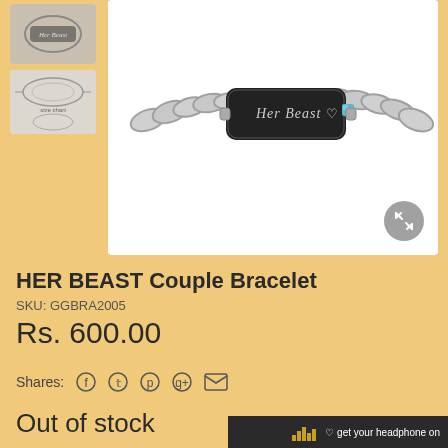[Figure (photo): Thumbnail 1: HER BEAST Couple Bracelet - close-up of bracelet clasp area]
[Figure (photo): Thumbnail 2: bracelet size/dimension diagram showing oval shapes with measurements]
[Figure (photo): Main product image: black ID-style bracelet with silver chain engraved with 'Her Beast' heart symbol and blue gemstone on white background]
HER BEAST Couple Bracelet
SKU: GGBRA2005
Rs. 600.00
Shares:
Out of stock
get your headphone on